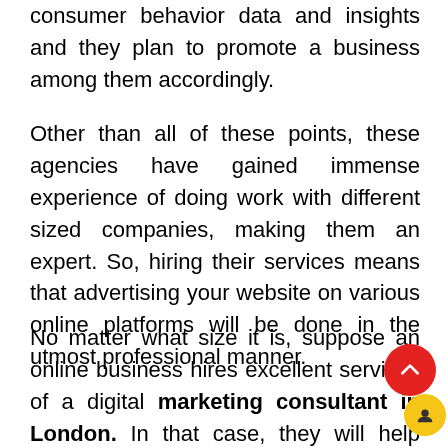consumer behavior data and insights and they plan to promote a business among them accordingly.
Other than all of these points, these agencies have gained immense experience of doing work with different sized companies, making them an expert. So, hiring their services means that advertising your website on various online platforms will be done in the utmost professional manner.
No matter what size it is, suppose an online business hires excellent services of a digital marketing consultant in London. In that case, they will help your business to get substantial growth on various online and social platforms. By